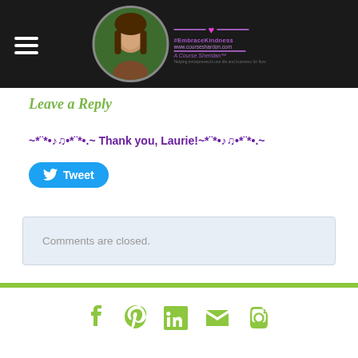Site header with navigation hamburger menu and logo
Leave a Reply
~*¨*•♪♫•*¨*•.~ Thank you, Laurie!~*¨*•♪♫•*¨*•.~
Tweet
Comments are closed.
Social icons: Facebook, Pinterest, LinkedIn, Email, Instagram